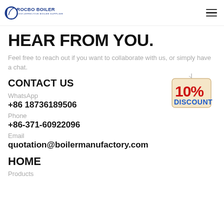ROCBO BOILER — COST-EFFECTIVE BOILER SUPPLIER
HEAR FROM YOU.
Feel free to reach out if you want to collaborate with us, or simply have a chat.
CONTACT US
[Figure (illustration): 10% DISCOUNT sign hanging badge]
WhatsApp
+86 18736189506
Phone
+86-371-60922096
Email
quotation@boilermanufactory.com
HOME
Products